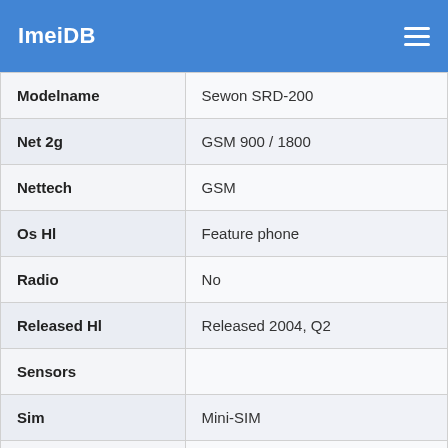ImeiDB
| Property | Value |
| --- | --- |
| Modelname | Sewon SRD-200 |
| Net 2g | GSM 900 / 1800 |
| Nettech | GSM |
| Os Hl | Feature phone |
| Radio | No |
| Released Hl | Released 2004, Q2 |
| Sensors |  |
| Sim | Mini-SIM |
| Status | Discontinued |
| Storage Hl | No card slot |